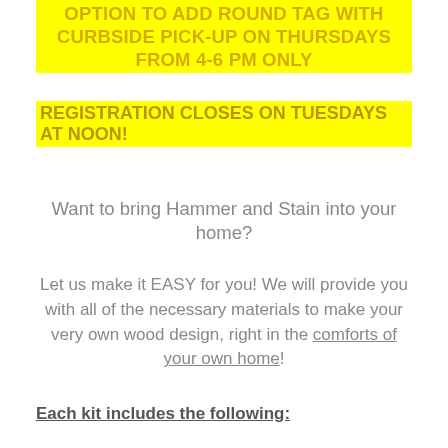OPTION TO ADD ROUND TAG WITH CURBSIDE PICK-UP ON THURSDAYS FROM 4-6 PM ONLY
REGISTRATION CLOSES ON TUESDAYS AT NOON!
Want to bring Hammer and Stain into your home?
Let us make it EASY for you! We will provide you with all of the necessary materials to make your very own wood design, right in the comforts of your own home!
Each kit includes the following: